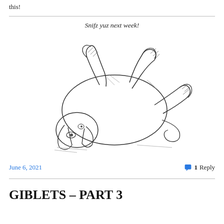this!
Snifz yuz next week!
[Figure (illustration): Pen and ink sketch of a dog lying on its back with paws in the air, appearing relaxed and playful, with hatching shading technique]
June 6, 2021    💬 1 Reply
GIBLETS – PART 3